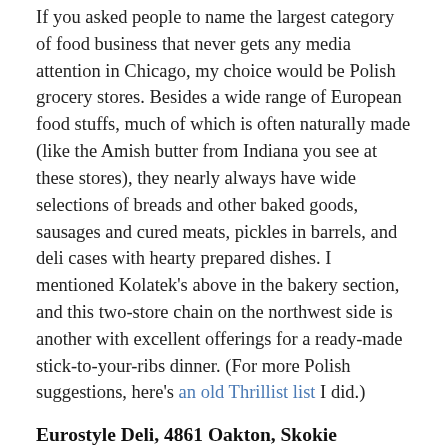If you asked people to name the largest category of food business that never gets any media attention in Chicago, my choice would be Polish grocery stores. Besides a wide range of European food stuffs, much of which is often naturally made (like the Amish butter from Indiana you see at these stores), they nearly always have wide selections of breads and other baked goods, sausages and cured meats, pickles in barrels, and deli cases with hearty prepared dishes. I mentioned Kolatek's above in the bakery section, and this two-store chain on the northwest side is another with excellent offerings for a ready-made stick-to-your-ribs dinner. (For more Polish suggestions, here's an old Thrillist list I did.)
Eurostyle Deli, 4861 Oakton, Skokie
Michael Morowitz suggested this deli and liquor store catering to the Russian immigrant population in the area, and I was impressed by the incredibly tidy display cases,